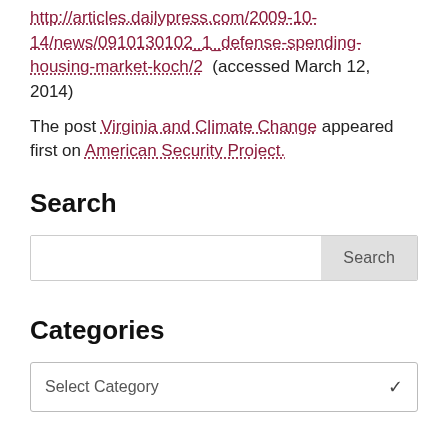http://articles.dailypress.com/2009-10-14/news/0910130102_1_defense-spending-housing-market-koch/2 (accessed March 12, 2014)
The post Virginia and Climate Change appeared first on American Security Project.
Search
Categories